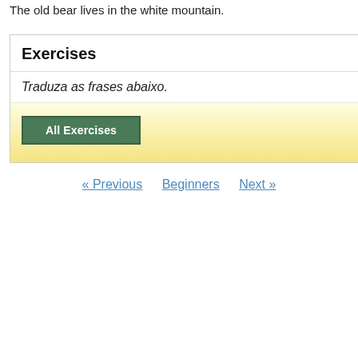The old bear lives in the white mountain.
Exercises
Traduza as frases abaixo.
All Exercises
« Previous   Beginners   Next »